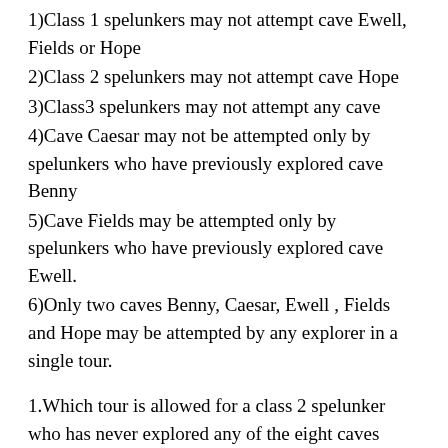1)Class 1 spelunkers may not attempt cave Ewell, Fields or Hope
2)Class 2 spelunkers may not attempt cave Hope
3)Class3 spelunkers may not attempt any cave
4)Cave Caesar may not be attempted only by spelunkers who have previously explored cave Benny
5)Cave Fields may be attempted only by spelunkers who have previously explored cave Ewell.
6)Only two caves Benny, Caesar, Ewell , Fields and Hope may be attempted by any explorer in a single tour.
1.Which tour is allowed for a class 2 spelunker who has never explored any of the eight caves before, if the caves are attempted in the order listed?